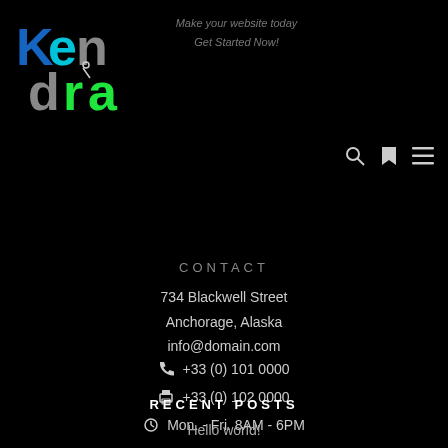[Figure (logo): Kendra logo with blue and green stylized letters on black background]
Make your website today
Get Started Now!
[Figure (infographic): Navigation icons: search, bookmark, hamburger menu]
CONTACT
734 Blackwell Street
Anchorage, Alaska
info@domain.com
+33 (0) 101 0000
+33 (0) 102 0000
Mon. - Fri. 8AM - 6PM
RECENT POSTS
Hello world!